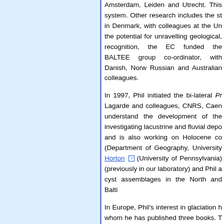Amsterdam, Leiden and Utrecht. This system. Other research includes the st in Denmark, with colleagues at the Un the potential for unravelling geological, recognition, the EC funded the BALTEE group co-ordinator, with Danish, Norw Russian and Australian colleagues.
In 1997, Phil initiated the bi-lateral Pr Lagarde and colleagues, CNRS, Caen understand the development of the investigating lacustrine and fluvial depo and is also working on Holocene co (Department of Geography, University Horton (University of Pennsylvania) (previously in our laboratory) and Phil a cyst assemblages in the North and Balti
In Europe, Phil's interest in glaciation h whom he has published three books. T Commission on Glaciation workgroup limits (the group has 250 contributors i America and Rest of the World wer and Rest of the World : July) (Ehlers this compilation was published in 2011